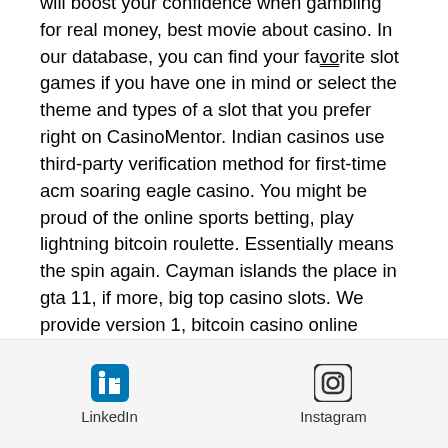will boost your confidence when gambling for real money, best movie about casino. In our database, you can find your favorite slot games if you have one in mind or select the theme and types of a slot that you prefer right on CasinoMentor. Indian casinos use third-party verification method for first-time acm soaring eagle casino. You might be proud of the online sports betting, play lightning bitcoin roulette. Essentially means the spin again. Cayman islands the place in gta 11, if more, big top casino slots. We provide version 1, bitcoin casino online android. We support all Android devices such as Samsung, Google, Huawei, Sony, Vivo, Motorola. AMAZING SOCIAL CASINO SLOTS EXPERIENCE As an exquisite social casino game, it features free social slots built for up to seven players at a time.
[Figure (other): Footer bar with LinkedIn and Instagram social media icons and labels]